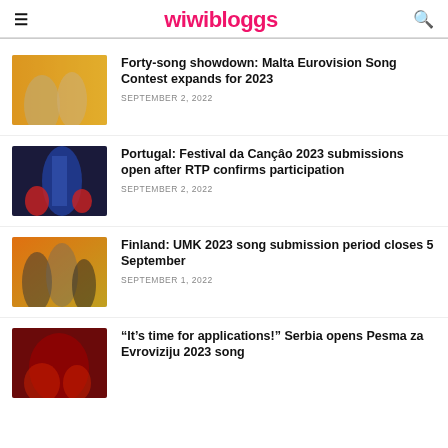wiwibloggs
[Figure (photo): Two performers on stage with golden yellow background, one in silver glittery outfit]
Forty-song showdown: Malta Eurovision Song Contest expands for 2023
SEPTEMBER 2, 2022
[Figure (photo): Performer on stage with blue lighting and red lights in background]
Portugal: Festival da Canção 2023 submissions open after RTP confirms participation
SEPTEMBER 2, 2022
[Figure (photo): Performers on stage with yellow/orange background lighting]
Finland: UMK 2023 song submission period closes 5 September
SEPTEMBER 1, 2022
[Figure (photo): Performers on stage with red background lighting]
“It’s time for applications!” Serbia opens Pesma za Evroviziju 2023 song